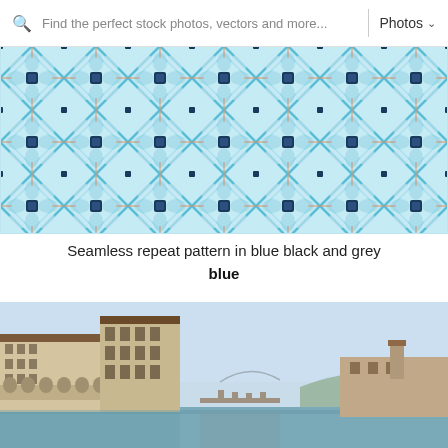Find the perfect stock photos, vectors and more... | Photos
[Figure (illustration): Seamless repeat pattern in blue, black and grey colors — a tiled geometric design with floral/mandala-like shapes in cyan/teal tones with dark navy accent centers and peachy-pink outlines on a light background.]
Seamless repeat pattern in blue black and grey blue
[Figure (photo): A panoramic view of Florence, Italy along the Arno River. On the left are historic Italian Renaissance buildings including the Uffizi Gallery with arched colonnades. The river runs through the center, with a bridge visible in the distance. The right bank shows more buildings and hillside with trees. Light blue sky with thin clouds above.]